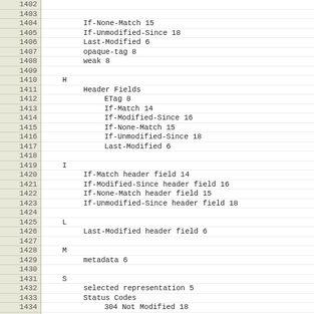1402
1403
1404    If-None-Match  15
1405    If-Unmodified-Since  18
1406    Last-Modified  6
1407    opaque-tag  8
1408    weak  8
1409
1410  H
1411    Header Fields
1412      ETag  8
1413      If-Match  14
1414      If-Modified-Since  16
1415      If-None-Match  15
1416      If-Unmodified-Since  18
1417      Last-Modified  6
1418
1419  I
1420    If-Match header field  14
1421    If-Modified-Since header field  16
1422    If-None-Match header field  15
1423    If-Unmodified-Since header field  18
1424
1425  L
1426    Last-Modified header field  6
1427
1428  M
1429    metadata  6
1430
1431  S
1432    selected representation  5
1433    Status Codes
1434      304 Not Modified  18